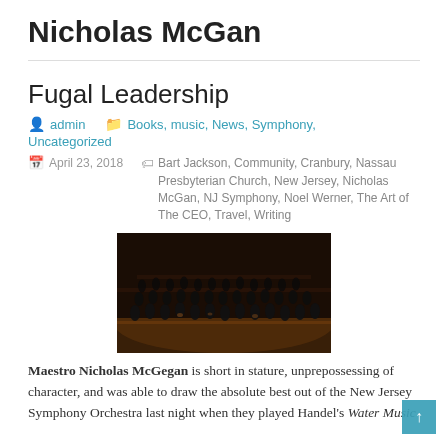Nicholas McGan
Fugal Leadership
admin   Books, music, News, Symphony, Uncategorized
April 23, 2018   Bart Jackson, Community, Cranbury, Nassau Presbyterian Church, New Jersey, Nicholas McGan, NJ Symphony, Noel Werner, The Art of The CEO, Travel, Writing
[Figure (photo): Orchestra performing on stage, musicians in formal attire playing various instruments including strings and brass, warm stage lighting]
Maestro Nicholas McGegan is short in stature, unprepossessing of character, and was able to draw the absolute best out of the New Jersey Symphony Orchestra last night when they played Handel's Water Music.